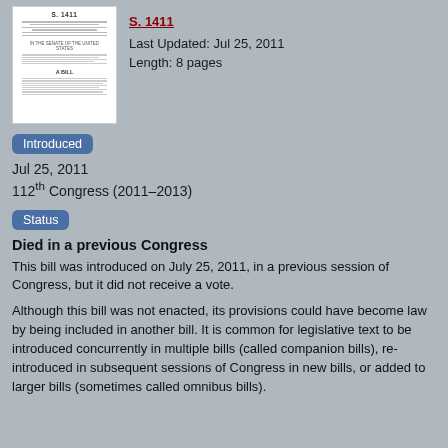[Figure (illustration): Thumbnail image of a Senate bill document labeled S. 1411]
Last Updated: Jul 25, 2011
Length: 8 pages
Introduced
Jul 25, 2011
112th Congress (2011–2013)
Status
Died in a previous Congress
This bill was introduced on July 25, 2011, in a previous session of Congress, but it did not receive a vote.
Although this bill was not enacted, its provisions could have become law by being included in another bill. It is common for legislative text to be introduced concurrently in multiple bills (called companion bills), re-introduced in subsequent sessions of Congress in new bills, or added to larger bills (sometimes called omnibus bills).